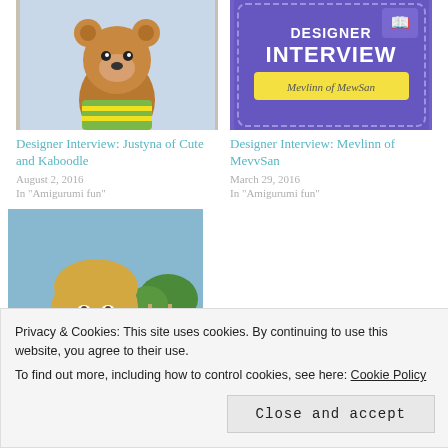[Figure (photo): Crocheted bear amigurumi toy wearing a striped shirt]
Designer Interview: Justyna of Cute and Kaboodle
August 2, 2016
In "Amigurumi fun"
[Figure (illustration): Designer Interview badge for Mevlinn of MewSan with purple background and yellow banner]
Designer Interview: Mevlinn of MevvSan
March 29, 2016
In "Amigurumi fun"
[Figure (photo): Photo of Melissa, a young woman with blonde hair outdoors]
Designer Interview: Melissa of Melissa's
Privacy & Cookies: This site uses cookies. By continuing to use this website, you agree to their use. To find out more, including how to control cookies, see here: Cookie Policy
Close and accept